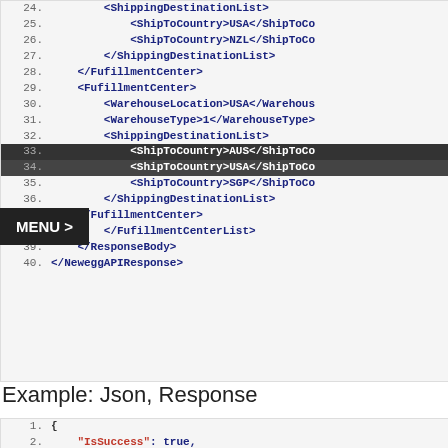[Figure (screenshot): XML code block showing lines 24-40 of a Newegg API XML response with ShippingDestinationList, FufillmentCenter, WarehouseLocation, WarehouseType, ShipToCountry elements]
Example: Json, Response
[Figure (screenshot): JSON code block showing lines 1-3 of a GetSellerAccountStatusResponse JSON response with IsSuccess: true and OperationType fields]